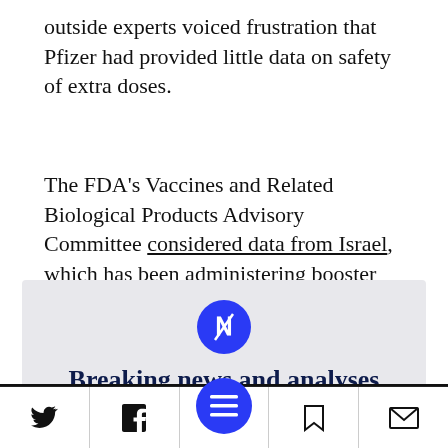outside experts voiced frustration that Pfizer had provided little data on safety of extra doses.
The FDA's Vaccines and Related Biological Products Advisory Committee considered data from Israel, which has been administering booster doses of the Pfizer vaccine.
[Figure (infographic): Grey promotional box with a blue circular icon (letter N with diagonal line), bold navy text reading 'Breaking news and analyses delivered to your inbox', partially cut off at the bottom.]